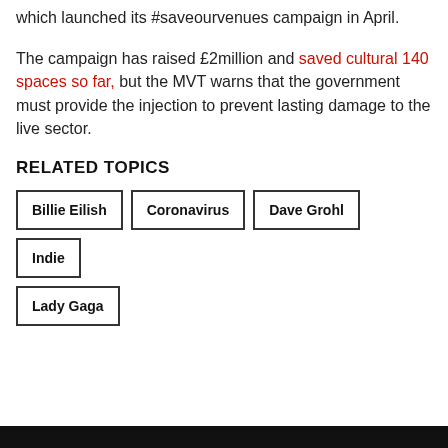which launched its #saveourvenues campaign in April.
The campaign has raised £2million and saved cultural 140 spaces so far, but the MVT warns that the government must provide the injection to prevent lasting damage to the live sector.
RELATED TOPICS
Billie Eilish
Coronavirus
Dave Grohl
Indie
Lady Gaga